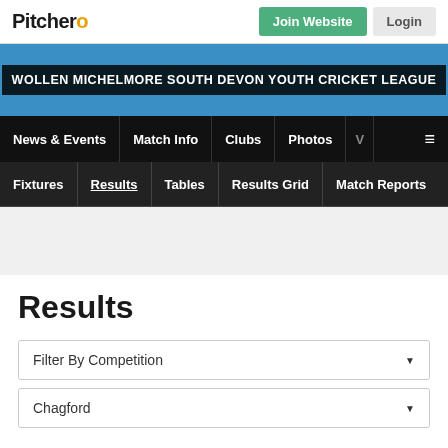Pitchero | Join Website | Login
WOLLEN MICHELMORE SOUTH DEVON YOUTH CRICKET LEAGUE
News & Events | Match Info | Clubs | Photos | V | ≡
Fixtures | Results | Tables | Results Grid | Match Reports
Results
Filter By Competition
Chagford